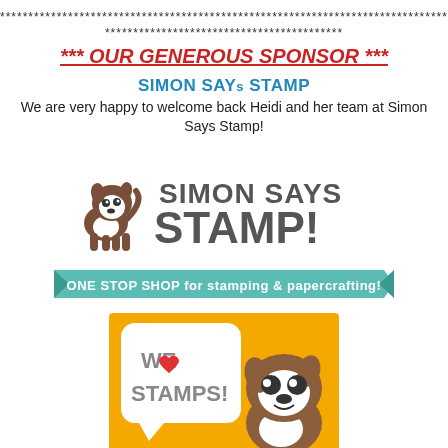********************************************************************************************
******************************************
*** OUR GENEROUS SPONSOR ***
SIMON SAYs STAMP
We are very happy to welcome back Heidi and her team at Simon Says Stamp!
[Figure (logo): Simon Says Stamp logo with Boston Terrier dog and text SIMON SAYS STAMP! with teal banner saying ONE STOP SHOP for stamping & papercrafting!]
[Figure (illustration): Yellow background card with WE LOVE STAMPS! text and Boston Terrier dog cartoon]